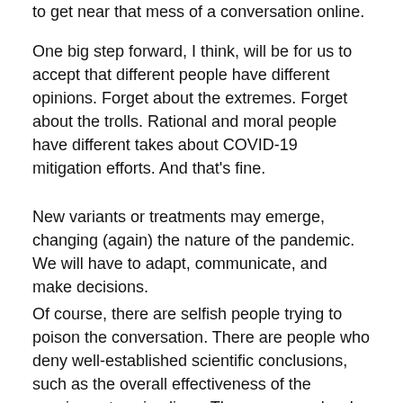to get near that mess of a conversation online.
One big step forward, I think, will be for us to accept that different people have different opinions. Forget about the extremes. Forget about the trolls. Rational and moral people have different takes about COVID-19 mitigation efforts. And that's fine.
New variants or treatments may emerge, changing (again) the nature of the pandemic. We will have to adapt, communicate, and make decisions.
Of course, there are selfish people trying to poison the conversation. There are people who deny well-established scientific conclusions, such as the overall effectiveness of the vaccines at saving lives. There are people who believe the virus is a setup by evil globalists and big pharma to install worldwide